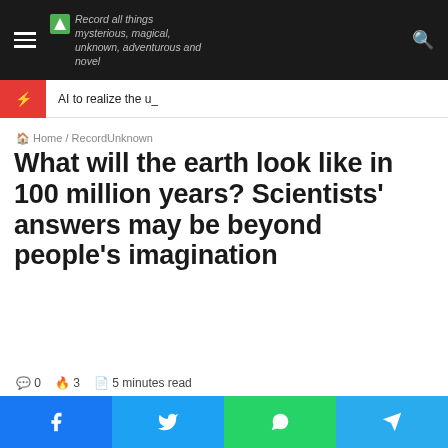Record all things mysterious, magical, unknown, adventurous and novel
AI to realize the u_
Home / RecordUnknown
What will the earth look like in 100 million years? Scientists' answers may be beyond people's imagination
0  3  5 minutes read